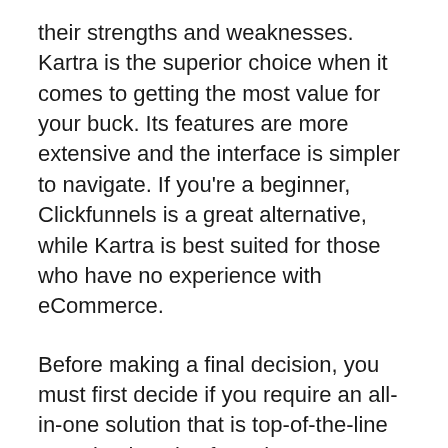their strengths and weaknesses. Kartra is the superior choice when it comes to getting the most value for your buck. Its features are more extensive and the interface is simpler to navigate. If you're a beginner, Clickfunnels is a great alternative, while Kartra is best suited for those who have no experience with eCommerce.
Before making a final decision, you must first decide if you require an all-in-one solution that is top-of-the-line or a simple sales funnel creator. ClickFunnels can be used as a platform that is all-in-one. Kartra, however, offers more tools and features. Kartra includes, for instance offers helpdesks and calendars. Kartra also has video hosting, among other features that ClickFunnels does